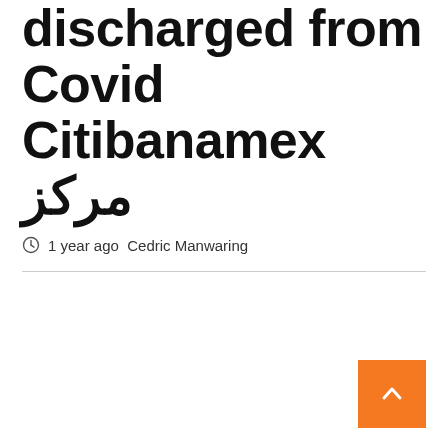last patient discharged from Covid Citibanamex مركز
1 year ago  Cedric Manwaring